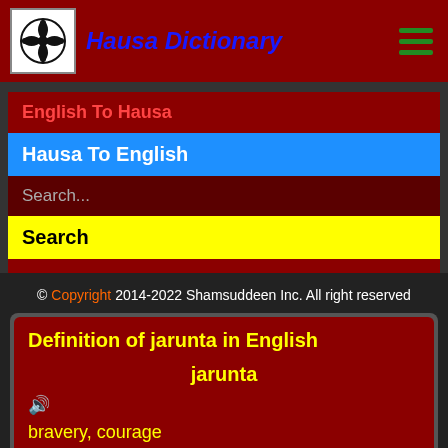Hausa Dictionary
English To Hausa
Hausa To English
Search...
Search
© Copyright 2014-2022 Shamsuddeen Inc. All right reserved
Definition of jarunta in English
jarunta
bravery, courage